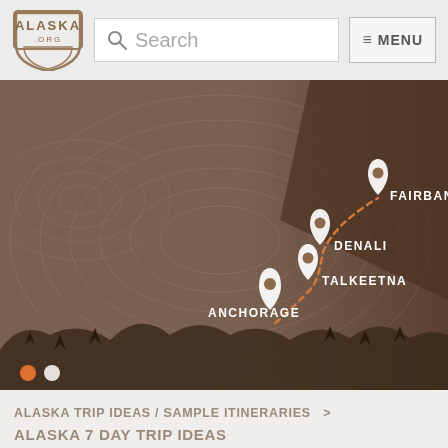ALASKA.ORG | Search | MENU
[Figure (map): Illustrated map showing a travel route through Alaska connecting Anchorage, Talkeetna, Denali, and Fairbanks with an orange dotted line and pin markers. Topographic line art background in brown tones with silhouetted mountains and trees at the bottom. Two slide indicator dots at the bottom left (orange active, white inactive).]
ALASKA TRIP IDEAS / SAMPLE ITINERARIES  >
ALASKA 7 DAY TRIP IDEAS